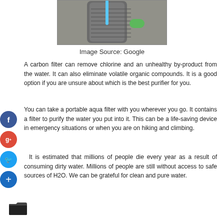[Figure (photo): Photo of a water filter bottle/container with a blue straw and green cap, placed on gravel/concrete surface]
Image Source: Google
A carbon filter can remove chlorine and an unhealthy by-product from the water. It can also eliminate volatile organic compounds. It is a good option if you are unsure about which is the best purifier for you.
You can take a portable aqua filter with you wherever you go. It contains a filter to purify the water you put into it. This can be a life-saving device in emergency situations or when you are on hiking and climbing.
It is estimated that millions of people die every year as a result of consuming dirty water. Millions of people are still without access to safe sources of H2O. We can be grateful for clean and pure water.